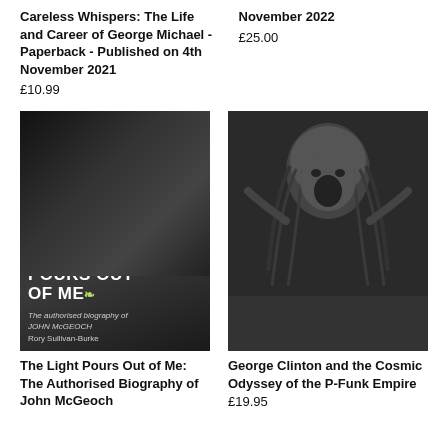Careless Whispers: The Life and Career of George Michael - Paperback - Published on 4th November 2021
£10.99
November 2022
£25.00
[Figure (photo): Book cover of 'The Light Pours Out of Me: The Authorised Biography of John McGeoch' by Rory Sullivan-Burke. Dark cover with a silhouette of a guitarist and green/yellow highlighted title text.]
[Figure (photo): Book cover of 'George Clinton & The Cosmic Odyssey of the P-Funk Empire' by Kris Needs. Black and white photo of George Clinton with yellow title text on black background.]
The Light Pours Out of Me: The Authorised Biography of John McGeoch
George Clinton and the Cosmic Odyssey of the P-Funk Empire
£19.95